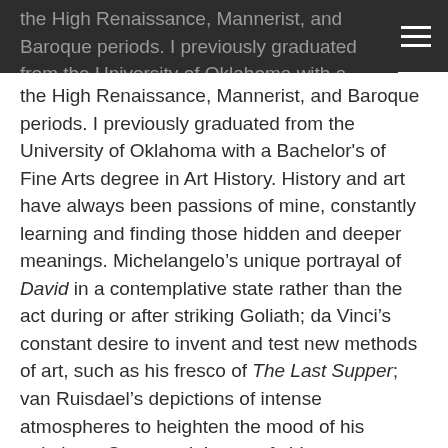the High Renaissance, Mannerist, and Baroque periods. I previously graduated from the University of Oklahoma with a Bachelor's of Fine Arts degree in Art History.
the High Renaissance, Mannerist, and Baroque periods. I previously graduated from the University of Oklahoma with a Bachelor's of Fine Arts degree in Art History. History and art have always been passions of mine, constantly learning and finding those hidden and deeper meanings. Michelangelo’s unique portrayal of David in a contemplative state rather than the act during or after striking Goliath; da Vinci’s constant desire to invent and test new methods of art, such as his fresco of The Last Supper; van Ruisdael’s depictions of intense atmospheres to heighten the mood of his paintings; Caravaggio’s use of chiaroscuro to show great emotion with extreme light and darkness. These characteristics and backstories behind the final works of art are greatly appealing. In order to understand and comprehend today, yesterday must be studied and understood. Iconic works of art from history still captivate not only art historians, but the